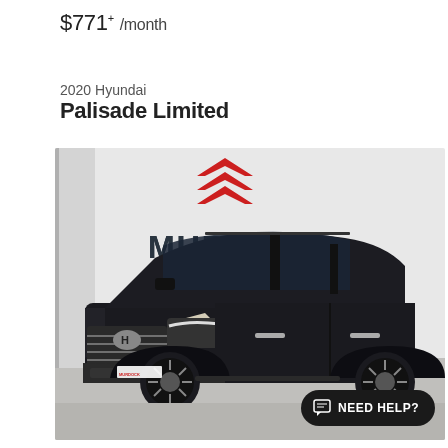$771+ /month
2020 Hyundai
Palisade Limited
[Figure (photo): A black 2020 Hyundai Palisade Limited SUV photographed in a showroom with a Murdock dealership backdrop featuring a red chevron logo and MURDOCK lettering on the wall.]
NEED HELP?